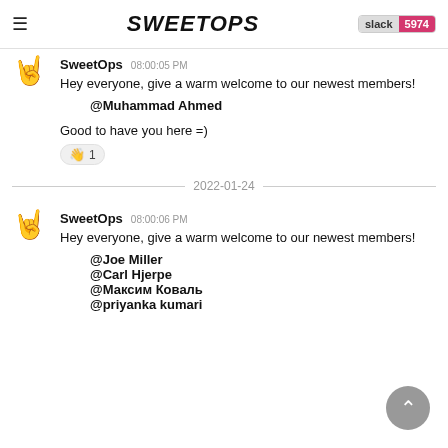SweetOps slack 5974
SweetOps 08:00:05 PM
Hey everyone, give a warm welcome to our newest members!
@Muhammad Ahmed

Good to have you here =)
👋 1
2022-01-24
SweetOps 08:00:06 PM
Hey everyone, give a warm welcome to our newest members!
@Joe Miller
@Carl Hjerpe
@Максим Коваль
@priyanka kumari